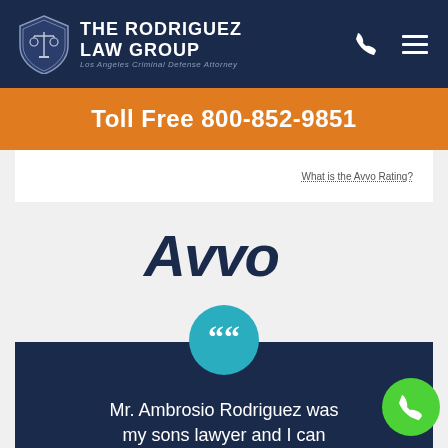[Figure (logo): The Rodriguez Law Group logo with shield icon and text. Los Angeles Criminal Defense Attorney.]
Toll Free 800-852-9851
[Figure (screenshot): Avvo rating widget showing 'What is the Avvo Rating?' text]
[Figure (logo): Avvo logo in dark navy italic font]
[Figure (illustration): Teal circle with large quotation mark icon above a dark navy testimonial box]
Mr. Ambrosio Rodriguez was my sons lawyer and I can